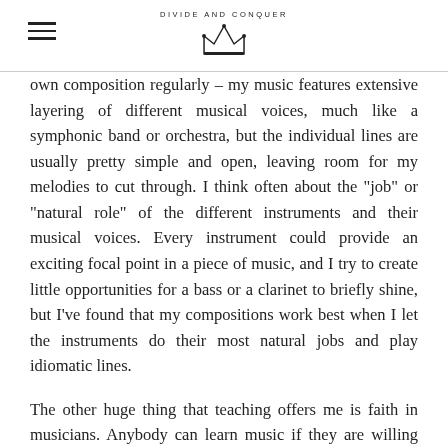DIVIDE AND CONQUER
own composition regularly – my music features extensive layering of different musical voices, much like a symphonic band or orchestra, but the individual lines are usually pretty simple and open, leaving room for my melodies to cut through. I think often about the "job" or "natural role" of the different instruments and their musical voices. Every instrument could provide an exciting focal point in a piece of music, and I try to create little opportunities for a bass or a clarinet to briefly shine, but I've found that my compositions work best when I let the instruments do their most natural jobs and play idiomatic lines.
The other huge thing that teaching offers me is faith in musicians. Anybody can learn music if they are willing and interested, I am sure of this. Music education is a birthright and it's amazing to see what some people will start to create as soon as you provide them with an instrument and some basic knowledge. I feel confident that as long as I continue teaching